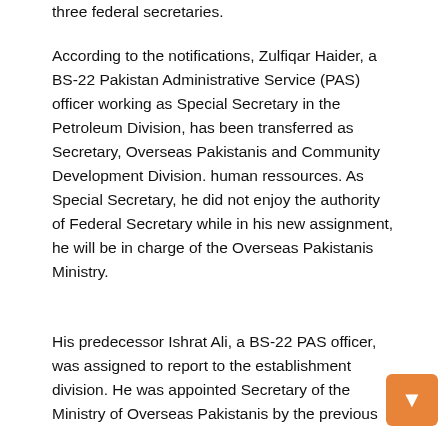three federal secretaries.
According to the notifications, Zulfiqar Haider, a BS-22 Pakistan Administrative Service (PAS) officer working as Special Secretary in the Petroleum Division, has been transferred as Secretary, Overseas Pakistanis and Community Development Division. human ressources. As Special Secretary, he did not enjoy the authority of Federal Secretary while in his new assignment, he will be in charge of the Overseas Pakistanis Ministry.
His predecessor Ishrat Ali, a BS-22 PAS officer, was assigned to report to the establishment division. He was appointed Secretary of the Ministry of Overseas Pakistanis by the previous